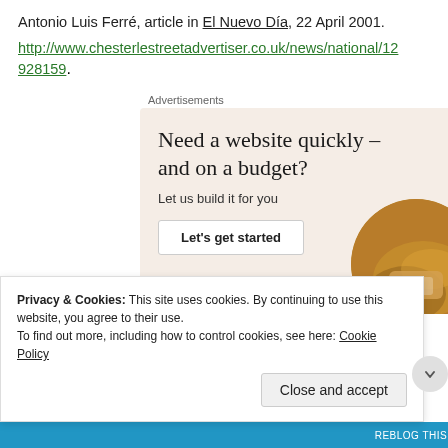Antonio Luis Ferré, article in El Nuevo Día, 22 April 2001.
http://www.chesterlestreetadvertiser.co.uk/news/national/12928159.
Advertisements
[Figure (illustration): Advertisement banner: 'Need a website quickly – and on a budget? Let us build it for you' with a 'Let's get started' button and a circular photo of hands on a device.]
Privacy & Cookies: This site uses cookies. By continuing to use this website, you agree to their use. To find out more, including how to control cookies, see here: Cookie Policy
Close and accept